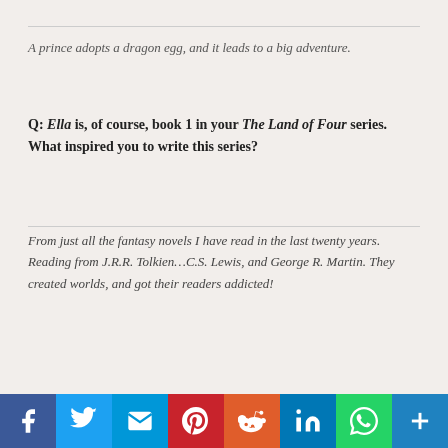A prince adopts a dragon egg, and it leads to a big adventure.
Q: Ella is, of course, book 1 in your The Land of Four series. What inspired you to write this series?
From just all the fantasy novels I have read in the last twenty years. Reading from J.R.R. Tolkien…C.S. Lewis, and George R. Martin. They created worlds, and got their readers addicted!
[Figure (photo): Close-up photo of white calla lilies on a wooden surface with a patterned fabric on the right side]
[Figure (infographic): Social media sharing buttons: Facebook, Twitter, Email, Pinterest, Reddit, LinkedIn, WhatsApp, More, and a blank/redacted button]